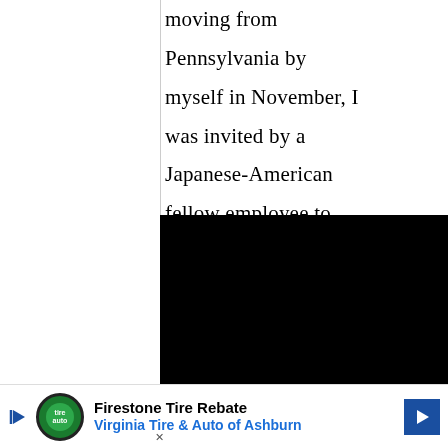moving from Pennsylvania by myself in November, I was invited by a Japanese-American fellow employee to share dinner with her
[Figure (other): Black redacted/obscured rectangular block covering bottom portion of main text area]
and me. Moreover, it
[Figure (other): Advertisement banner: Firestone Tire Rebate - Virginia Tire & Auto of Ashburn, with logo and navigation arrow]